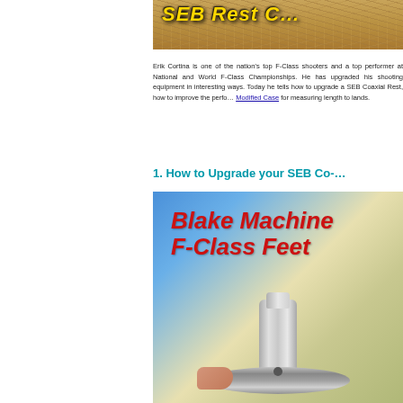[Figure (photo): Partial view of a photo with hay/straw background and yellow bold italic text reading 'SEB Rest' (partially visible)]
Erik Cortina is one of the nation's top F-Class shooters and a top performer at National and World F-Class Championships. He has upgraded his shooting equipment in interesting ways. Today he tells how to upgrade a SEB Coaxial Rest, how to improve the performance of… Modified Case for measuring length to lands.
1. How to Upgrade your SEB Co-…
[Figure (photo): Photo showing a metal F-Class shooting rest foot part (Blake Machine F-Class Feet) with red bold italic text 'Blake Machine F-Class Feet' on a blue/yellow gradient background, and a machined metal component being held.]